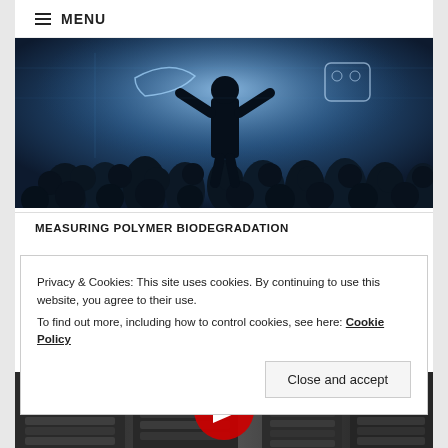≡ MENU
[Figure (photo): Conference/seminar scene with silhouetted audience watching a presenter standing at a glowing blue digital display screen]
MEASURING POLYMER BIODEGRADATION
Privacy & Cookies: This site uses cookies. By continuing to use this website, you agree to their use.
To find out more, including how to control cookies, see here: Cookie Policy
[Figure (screenshot): Video thumbnail showing server racks in black and white with a YouTube play button overlay]